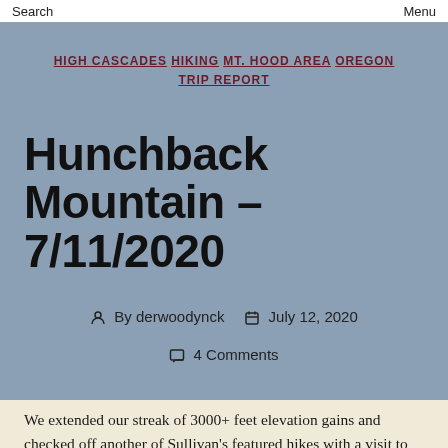Search    Menu
HIGH CASCADES  HIKING  MT. HOOD AREA  OREGON  TRIP REPORT
Hunchback Mountain – 7/11/2020
By derwoodynck    July 12, 2020
4 Comments
We extended our streak of 3000+ feet elevation gains and checked off another of Sullivan's featured hikes with a visit to the Hunchback Trail in the Salmon-